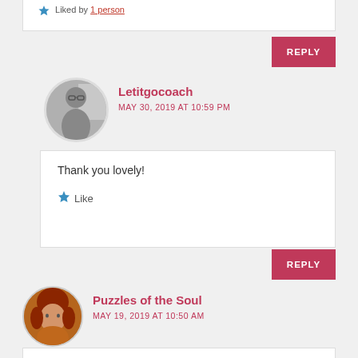Liked by 1 person
REPLY
Letitgocoach
MAY 30, 2019 AT 10:59 PM
Thank you lovely!
Like
REPLY
Puzzles of the Soul
MAY 19, 2019 AT 10:50 AM